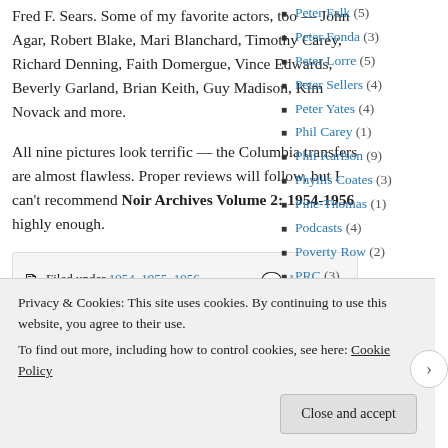Fred F. Sears. Some of my favorite actors, too — John Agar, Robert Blake, Mari Blanchard, Timothy Carey, Richard Denning, Faith Domergue, Vince Edwards, Beverly Garland, Brian Keith, Guy Madison, Kim Novack and more.
All nine pictures look terrific — the Columbia transfers are almost flawless. Proper reviews will follow, but I can't recommend Noir Archives Volume 2: 1954-1956 highly enough.
Peter Falk (5)
Peter Fonda (3)
Peter Lorre (5)
Peter Sellers (4)
Peter Yates (4)
Phil Carey (1)
Phil Karlson (9)
Phyllis Coates (3)
Pine-Thomas (1)
Podcasts (4)
Poverty Row (2)
PRC (3)
Pre-Code (10)
Filed under 1954, 1955, 1956, Beverly | 1 Comment
Privacy & Cookies: This site uses cookies. By continuing to use this website, you agree to their use.
To find out more, including how to control cookies, see here: Cookie Policy